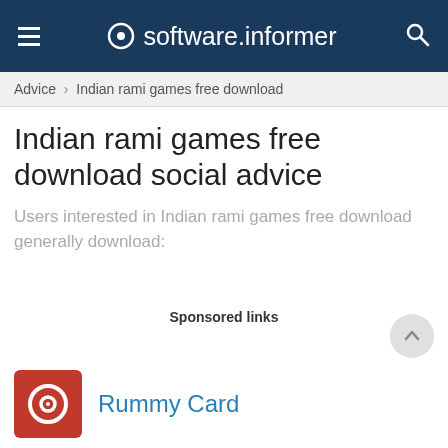software.informer
Advice › Indian rami games free download
Indian rami games free download social advice
Users interested in Indian rami games free download generally download:
Sponsored links
[Figure (logo): Rummy Card app icon — red square with white circle/ring target logo]
Rummy Card